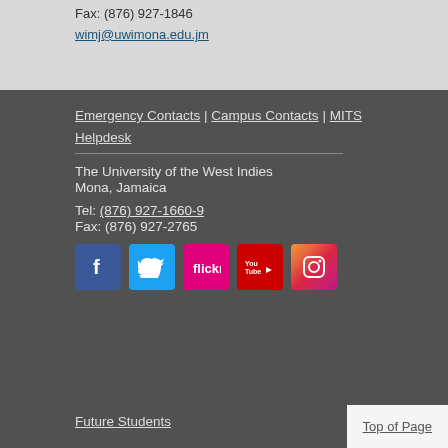Fax: (876) 927-1846
wimj@uwimona.edu.jm
Emergency Contacts | Campus Contacts | MITS
Helpdesk
The University of the West Indies
Mona, Jamaica
Tel: (876) 927-1660-9
Fax: (876) 927-2765
[Figure (other): Social media icons: Facebook, Twitter, Flickr, YouTube, Instagram]
Future Students
Top of Page